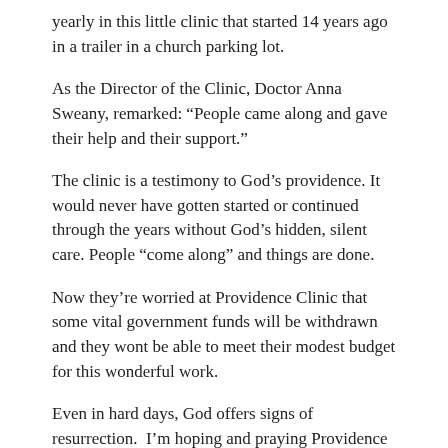yearly in this little clinic that started 14 years ago in a trailer in a church parking lot.
As the Director of the Clinic, Doctor Anna Sweany, remarked: “People came along and gave their help and their support.”
The clinic is a testimony to God’s providence. It would never have gotten started or continued through the years without God’s hidden, silent care. People “come along” and things are done.
Now they’re worried at Providence Clinic that some vital government funds will be withdrawn and they wont be able to meet their modest budget for this wonderful work.
Even in hard days, God offers signs of resurrection.  I’m hoping and praying Providence Clinic will continue to live up to its name.